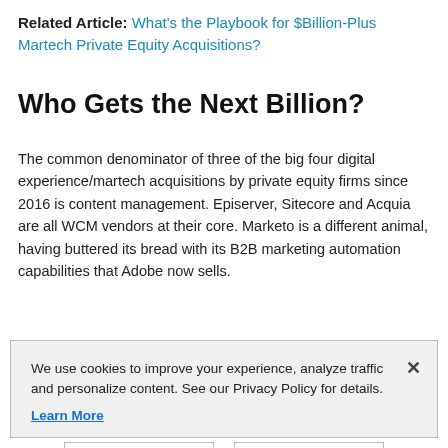Related Article: What's the Playbook for $Billion-Plus Martech Private Equity Acquisitions?
Who Gets the Next Billion?
The common denominator of three of the big four digital experience/martech acquisitions by private equity firms since 2016 is content management. Episerver, Sitecore and Acquia are all WCM vendors at their core. Marketo is a different animal, having buttered its bread with its B2B marketing automation capabilities that Adobe now sells.
If you combine the four of them, you're talking digital
We use cookies to improve your experience, analyze traffic and personalize content. See our Privacy Policy for details. Learn More
Accept
Deny